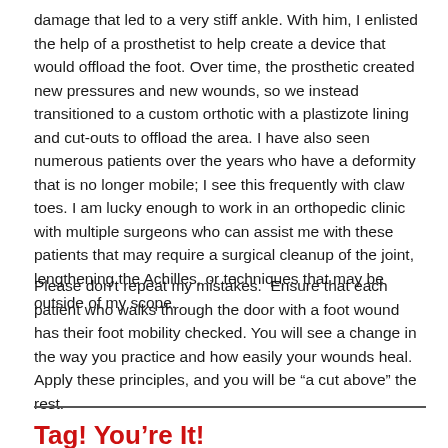damage that led to a very stiff ankle. With him, I enlisted the help of a prosthetist to help create a device that would offload the foot. Over time, the prosthetic created new pressures and new wounds, so we instead transitioned to a custom orthotic with a plastizote lining and cut-outs to offload the area. I have also seen numerous patients over the years who have a deformity that is no longer mobile; I see this frequently with claw toes. I am lucky enough to work in an orthopedic clinic with multiple surgeons who can assist me with these patients that may require a surgical cleanup of the joint, lengthening the Achilles, or techniques that may be outside of my scope.
Please don’t repeat my mistakes.  Ensure that each patient who walks through the door with a foot wound has their foot mobility checked. You will see a change in the way you practice and how easily your wounds heal.  Apply these principles, and you will be “a cut above” the rest.
Tag! You’re It!